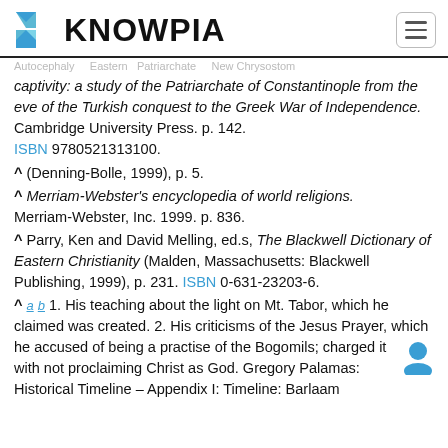KNOWPIA
captivity: a study of the Patriarchate of Constantinople from the eve of the Turkish conquest to the Greek War of Independence. Cambridge University Press. p. 142. ISBN 9780521313100.
^ (Denning-Bolle, 1999), p. 5.
^ Merriam-Webster's encyclopedia of world religions. Merriam-Webster, Inc. 1999. p. 836.
^ Parry, Ken and David Melling, ed.s, The Blackwell Dictionary of Eastern Christianity (Malden, Massachusetts: Blackwell Publishing, 1999), p. 231. ISBN 0-631-23203-6.
^ a b 1. His teaching about the light on Mt. Tabor, which he claimed was created. 2. His criticisms of the Jesus Prayer, which he accused of being a practise of the Bogomils; charged it with not proclaiming Christ as God. Gregory Palamas: Historical Timeline – Appendix I: Timeline: Barlaam